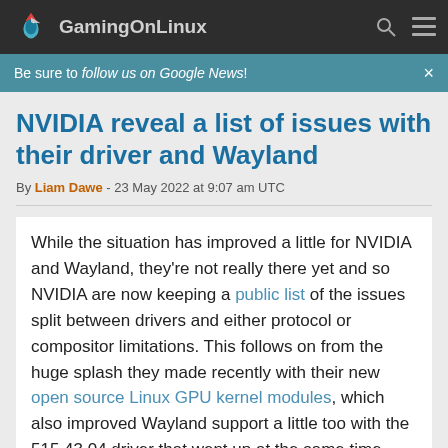GamingOnLinux
Be sure to follow us on Google News!
NVIDIA reveal a list of issues with their driver and Wayland
By Liam Dawe - 23 May 2022 at 9:07 am UTC
While the situation has improved a little for NVIDIA and Wayland, they're not really there yet and so NVIDIA are now keeping a public list of the issues split between drivers and either protocol or compositor limitations. This follows on from the huge splash they made recently with their new open source Linux GPU kernel modules, which also improved Wayland support a little too with the 515.43.04 driver that went up at the same time.